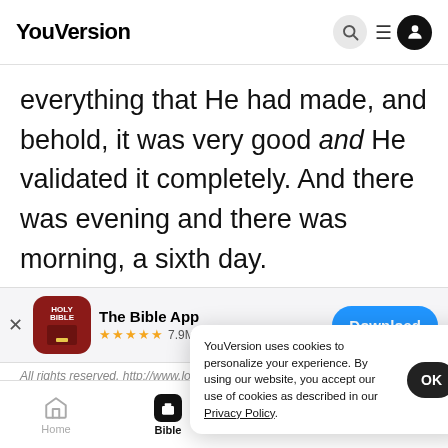YouVersion
everything that He had made, and behold, it was very good and He validated it completely. And there was evening and there was morning, a sixth day.
[Figure (screenshot): The Bible App download banner with Holy Bible icon, 5 stars, 7.9M ratings, and a blue Download button]
All rights reserved. http://www.lockman.org
Learn Mor…
YouVersion uses cookies to personalize your experience. By using our website, you accept our use of cookies as described in our Privacy Policy.
Home  Bible  Plans  Videos